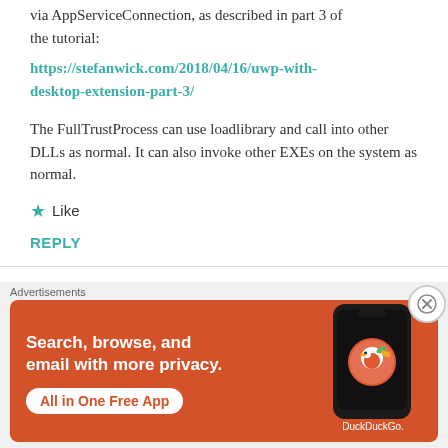via AppServiceConnection, as described in part 3 of the tutorial:
https://stefanwick.com/2018/04/16/uwp-with-desktop-extension-part-3/
The FullTrustProcess can use loadlibrary and call into other DLLs as normal. It can also invoke other EXEs on the system as normal.
★ Like
REPLY
Leave a Reply
[Figure (screenshot): DuckDuckGo advertisement banner with orange background, text 'Search, browse, and email with more privacy. All in One Free App' and a phone image with DuckDuckGo logo.]